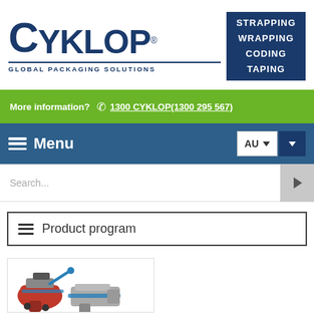[Figure (logo): Cyklop logo with text GLOBAL PACKAGING SOLUTIONS and blue box with STRAPPING WRAPPING CODING TAPING]
More information?  1300 CYKLOP(1300 295 567)
Menu  AU
Search...
Product program
[Figure (photo): Photo of strapping tools including a battery-powered strapping machine and a manual strapping tool]